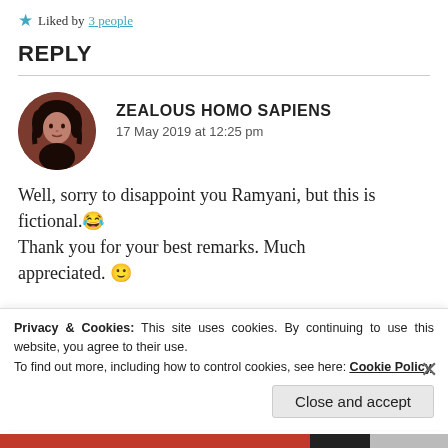Liked by 3 people
REPLY
[Figure (photo): Round avatar photo of a person with dark hair]
ZEALOUS HOMO SAPIENS
17 May 2019 at 12:25 pm
Well, sorry to disappoint you Ramyani, but this is fictional.😂 Thank you for your best remarks. Much appreciated. 🙂
Privacy & Cookies: This site uses cookies. By continuing to use this website, you agree to their use.
To find out more, including how to control cookies, see here: Cookie Policy
Close and accept